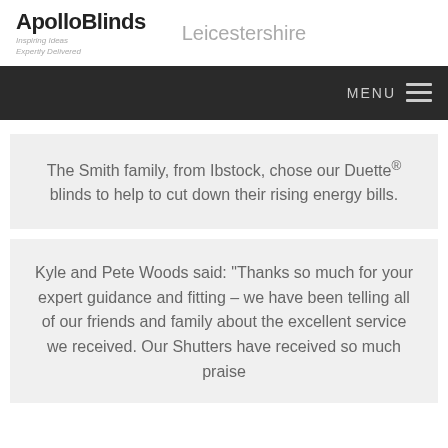ApolloBlinds Inspiring Ideas Expertly Delivered | Leicestershire
The Smith family, from Ibstock, chose our Duette® blinds to help to cut down their rising energy bills.
Kyle and Pete Woods said: "Thanks so much for your expert guidance and fitting – we have been telling all of our friends and family about the excellent service we received. Our Shutters have received so much praise